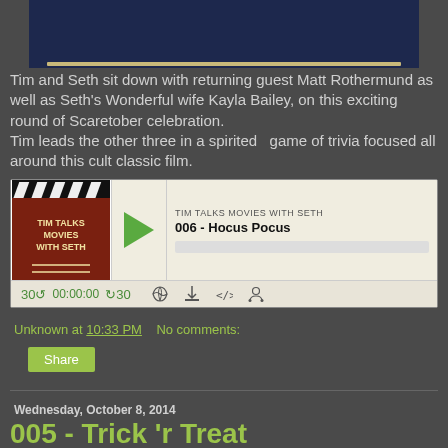[Figure (photo): Top portion of a dark blue textured image, partially visible at the top of the page]
Tim and Seth sit down with returning guest Matt Rothermund as well as Seth's Wonderful wife Kayla Bailey, on this exciting round of Scaretober celebration.
Tim leads the other three in a spirited  game of trivia focused all around this cult classic film.
[Figure (screenshot): Podcast player widget for 'TIM TALKS MOVIES WITH SETH' showing episode '006 - Hocus Pocus', with play button, progress bar, time controls (30s rewind, 00:00:00, forward 30s), and icons for RSS, download, embed, and speed]
Unknown at 10:33 PM   No comments:
Share
Wednesday, October 8, 2014
005 - Trick 'r Treat